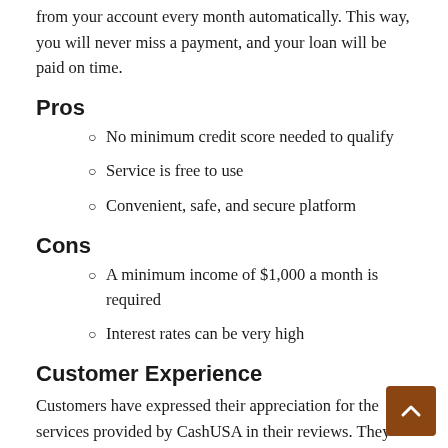from your account every month automatically. This way, you will never miss a payment, and your loan will be paid on time.
Pros
No minimum credit score needed to qualify
Service is free to use
Convenient, safe, and secure platform
Cons
A minimum income of $1,000 a month is required
Interest rates can be very high
Customer Experience
Customers have expressed their appreciation for the services provided by CashUSA in their reviews. They have praised the customer service representatives for being friendly, understanding, helpful, and readily available. Users also love